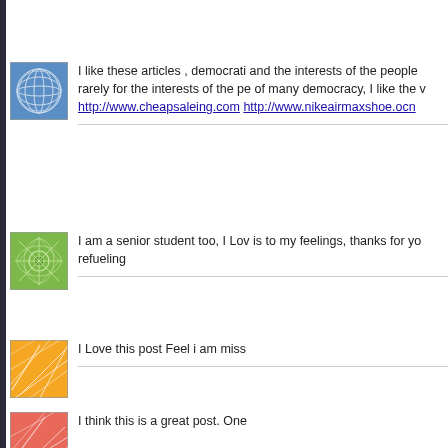[Figure (illustration): Blue grid globe pattern avatar icon]
I like these articles , democrati and the interests of the people rarely for the interests of the pe of many democracy, I like the v http://www.cheapsaleing.com http://www.nikeairmaxshoe.ocn
[Figure (illustration): Green starburst pattern avatar icon]
I am a senior student too, I Lov is to my feelings, thanks for yo refueling
[Figure (illustration): Orange abstract lines pattern avatar icon]
I Love this post Feel i am miss
[Figure (illustration): Red/salmon abstract lines pattern avatar icon]
I think this is a great post. One